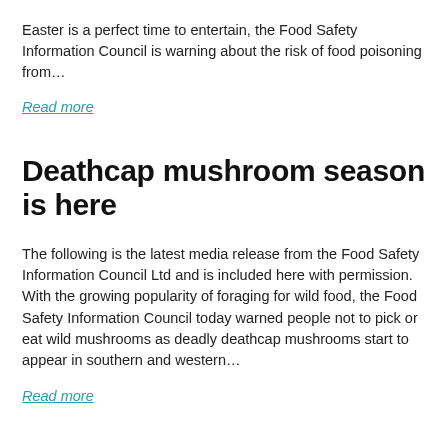Easter is a perfect time to entertain, the Food Safety Information Council is warning about the risk of food poisoning from…
Read more
Deathcap mushroom season is here
The following is the latest media release from the Food Safety Information Council Ltd and is included here with permission. With the growing popularity of foraging for wild food, the Food Safety Information Council today warned people not to pick or eat wild mushrooms as deadly deathcap mushrooms start to appear in southern and western…
Read more